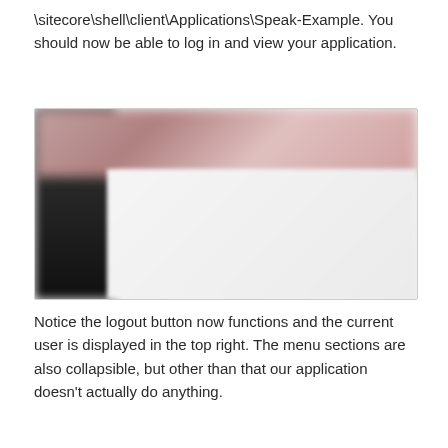\sitecore\shell\client\Applications\Speak-Example. You should now be able to log in and view your application.
[Figure (screenshot): A blurred screenshot of a Sitecore application interface showing a dark sidebar on the left, a reddish-pink header bar at the top, and a light grey content area.]
Notice the logout button now functions and the current user is displayed in the top right. The menu sections are also collapsible, but other than that our application doesn't actually do anything.